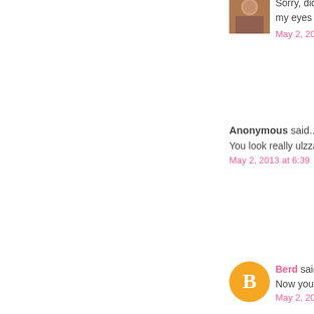[Figure (photo): Small square avatar photo of a person]
Sorry, did I say right my eyes are blurry &
May 2, 2013 at 5:46
Anonymous said...
You look really ulzza
May 2, 2013 at 6:39
[Figure (logo): Orange circle with white Blogger B icon]
Berd said...
Now you look way to
May 2, 2013 at 8:10
Trish said...
Waaah you so pretty university student.. I you about korean stu
May 2, 2013 at 8:15
Ferlice said...